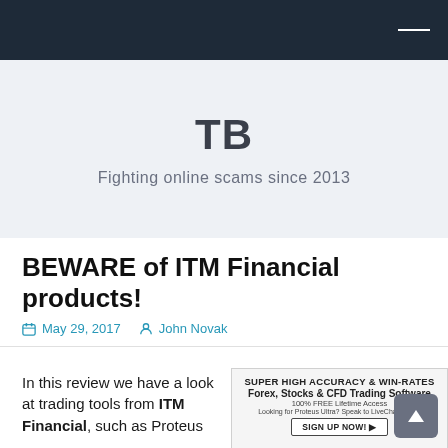TB — Fighting online scams since 2013
BEWARE of ITM Financial products!
May 29, 2017   John Novak
In this review we have a look at trading tools from ITM Financial, such as Proteus
[Figure (screenshot): Advertisement for Forex, Stocks & CFD Trading Software with Super High Accuracy & Win-Rates, 100% FREE Lifetime Access, Sign Up Now button, and a sunset sky background image]